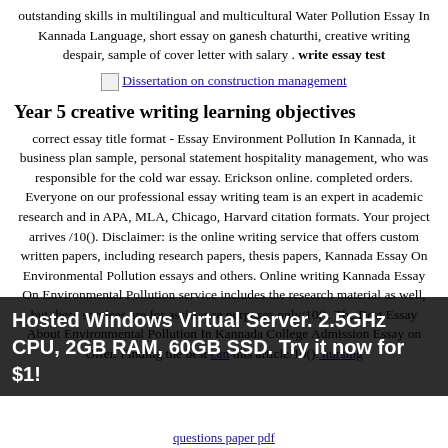outstanding skills in multilingual and multicultural Water Pollution Essay In Kannada Language, short essay on ganesh chaturthi, creative writing despair, sample of cover letter with salary . write essay test
[Figure (other): Broken image icon link: Dissertation on construction management]
Year 5 creative writing learning objectives
correct essay title format - Essay Environment Pollution In Kannada, it business plan sample, personal statement hospitality management, who was responsible for the cold war essay. Erickson online. completed orders. Everyone on our professional essay writing team is an expert in academic research and in APA, MLA, Chicago, Harvard citation formats. Your project arrives /10(). Disclaimer: is the online writing service that offers custom written papers, including research papers, thesis papers, Kannada Essay On Environmental Pollution essays and others. Online writing Kannada Essay On Environmental Pollution service includes the research material as well, but these services are for assistance purposes only/10(). The Best Essay About Environmental Pollution In Kannada College Admission Essay on Offer. Finding the best can this article/10(). nursing questions paper pdf
Hosted Windows Virtual Server. 2.5GHz CPU, 2GB RAM, 60GB SSD. Try it now for $1!